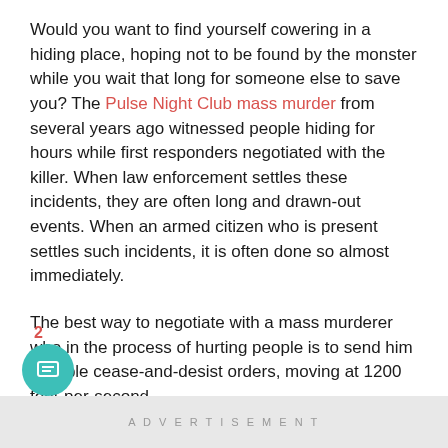Would you want to find yourself cowering in a hiding place, hoping not to be found by the monster while you wait that long for someone else to save you? The Pulse Night Club mass murder from several years ago witnessed people hiding for hours while first responders negotiated with the killer. When law enforcement settles these incidents, they are often long and drawn-out events. When an armed citizen who is present settles such incidents, it is often done so almost immediately.
The best way to negotiate with a mass murderer who in the process of hurting people is to send him multiple cease-and-desist orders, moving at 1200 feet-per-second.
ADVERTISEMENT